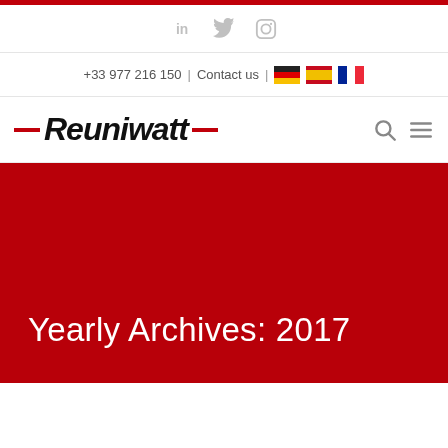Social icons: LinkedIn, Twitter, Instagram
+33 977 216 150 | Contact us | DE ES FR
[Figure (logo): Reuniwatt logo with red dashes on either side of italic bold text, plus search and menu icons]
Yearly Archives: 2017